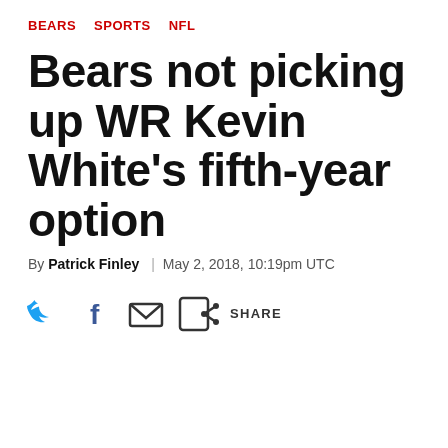BEARS   SPORTS   NFL
Bears not picking up WR Kevin White’s fifth-year option
By Patrick Finley | May 2, 2018, 10:19pm UTC
[Figure (other): Social sharing icons row: Twitter bird icon, Facebook f icon, email/envelope icon, share arrow icon with label SHARE]